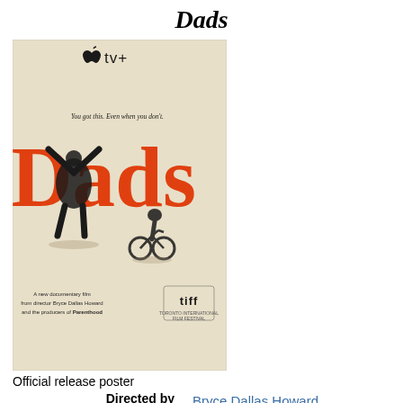Dads
[Figure (photo): Official release poster for the documentary film 'Dads'. Shows Apple TV+ logo at top, a man with arms raised and a child on a bicycle in black and white silhouette, large orange 'Dads' text, tagline 'You got this. Even when you don't.', text 'A new documentary film from director Bryce Dallas Howard and the producers of Parenthood', and TIFF festival logo.]
Official release poster
| Directed by | Bryce Dallas Howard
Ron Howard
Brian Grazer |